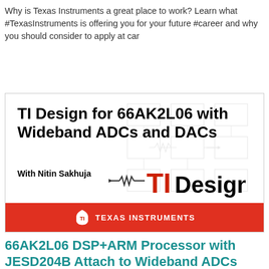Why is Texas Instruments a great place to work? Learn what #TexasInstruments is offering you for your future #career and why you should consider to apply at car
[Figure (illustration): TI Designs promotional image for TI Design for 66AK2L06 with Wideband ADCs and DACs, presented with Nitin Sakhuja. Features TIDesigns logo with circuit schematic background and Texas Instruments red banner at bottom.]
66AK2L06 DSP+ARM Processor with JESD204B Attach to Wideband ADCs and DACs